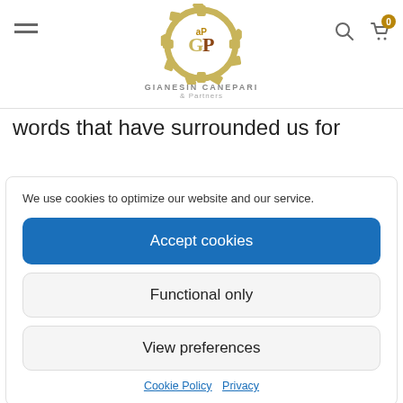[Figure (logo): Gianesin Canepari & Partners gear logo with text GIANESIN CANEPARI & Partners]
words that have surrounded us for
We use cookies to optimize our website and our service.
Accept cookies
Functional only
View preferences
Cookie Policy  Privacy